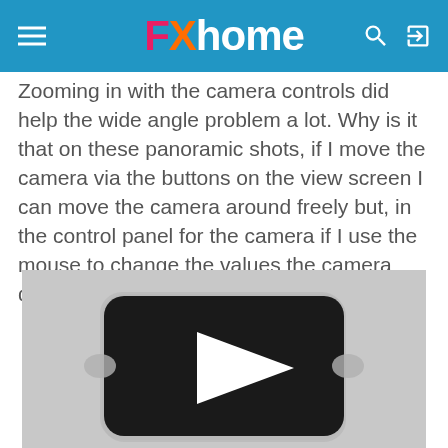FXhome
Zooming in with the camera controls did help the wide angle problem a lot. Why is it that on these panoramic shots, if I move the camera via the buttons on the view screen I can move the camera around freely but, in the control panel for the camera if I use the mouse to change the values the camera doesn't move?
[Figure (screenshot): Video thumbnail placeholder with a play button icon on a light gray background]